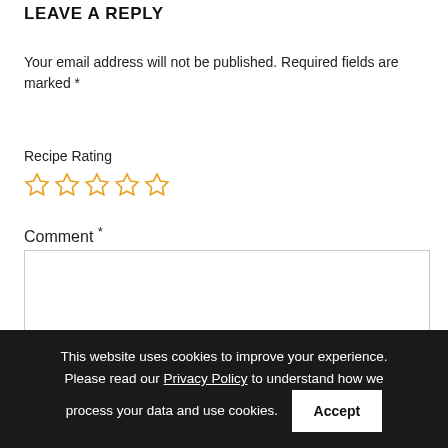LEAVE A REPLY
Your email address will not be published. Required fields are marked *
Recipe Rating
[Figure (other): Five empty star icons for recipe rating, colored orange/gold outlines]
Comment *
[Figure (other): Empty comment text area input box]
This website uses cookies to improve your experience. Please read our Privacy Policy to understand how we process your data and use cookies.